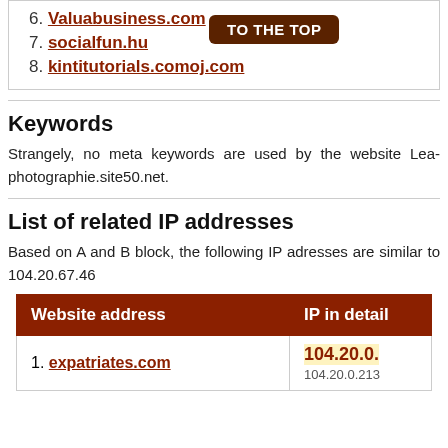6. Valuabusiness.com
7. socialfun.hu
8. kintitutorials.comoj.com
Keywords
Strangely, no meta keywords are used by the website Lea-photographie.site50.net.
List of related IP addresses
Based on A and B block, the following IP adresses are similar to 104.20.67.46
| Website address | IP in detail |
| --- | --- |
| 1. expatriates.com | 104.20.0.
104.20.0.213 |